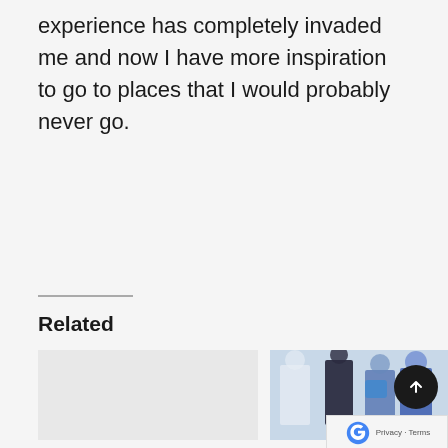experience has completely invaded me and now I have more inspiration to go to places that I would probably never go.
Related
[Figure (photo): Empty light-colored placeholder image for article card on left]
The All-American By All Asian
[Figure (photo): Photo of a group of people wearing fashion outfits including white and blue clothing against a light blue background]
I
2 June 2022